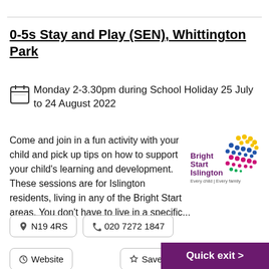0-5s Stay and Play (SEN), Whittington Park
Monday 2-3.30pm during School Holiday 25 July to 24 August 2022
Come and join in a fun activity with your child and pick up tips on how to support your child's learning and development. These sessions are for Islington residents, living in any of the Bright Start areas. You don't have to live in a specific...
[Figure (logo): Bright Start Islington logo with colourful dot pattern and text 'Every child | Every family']
N19 4RS
020 7272 1847
Website
Save to my shortlist
Quick exit >